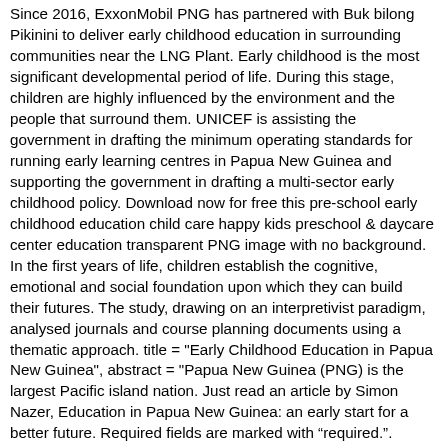Since 2016, ExxonMobil PNG has partnered with Buk bilong Pikinini to deliver early childhood education in surrounding communities near the LNG Plant. Early childhood is the most significant developmental period of life. During this stage, children are highly influenced by the environment and the people that surround them. UNICEF is assisting the government in drafting the minimum operating standards for running early learning centres in Papua New Guinea and supporting the government in drafting a multi-sector early childhood policy. Download now for free this pre-school early childhood education child care happy kids preschool & daycare center education transparent PNG image with no background. In the first years of life, children establish the cognitive, emotional and social foundation upon which they can build their futures. The study, drawing on an interpretivist paradigm, analysed journals and course planning documents using a thematic approach. title = "Early Childhood Education in Papua New Guinea", abstract = "Papua New Guinea (PNG) is the largest Pacific island nation. Just read an article by Simon Nazer, Education in Papua New Guinea: an early start for a better future. Required fields are marked with “required.". Research shows that of all period of a child’s life, the year between 3 and 6 is the most important in a child's growth and development. Isaac Lupari, CBE, Chief Secretary at Public Service Dedication Service early this year, Lupari congratulates 56 Department Staff who completed short courses with PILAG, Office of Security Coordination & Assessment. Early